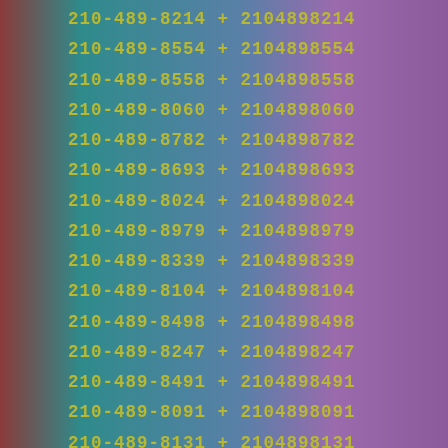210-489-8214 + 2104898214
210-489-8554 + 2104898554
210-489-8558 + 2104898558
210-489-8060 + 2104898060
210-489-8782 + 2104898782
210-489-8693 + 2104898693
210-489-8024 + 2104898024
210-489-8979 + 2104898979
210-489-8339 + 2104898339
210-489-8104 + 2104898104
210-489-8498 + 2104898498
210-489-8247 + 2104898247
210-489-8491 + 2104898491
210-489-8091 + 2104898091
210-489-8131 + 2104898131
210-489-8560 + 2104898560
210-489-8037 + 2104898037
210-489-8632 + 2104898632
210-489-8639 + 2104898639
210-489-8777 + 2104898777
210-489-8042 + 2104898042
210-489-8137 + 2104898137
210-489-8021 + 2104898021